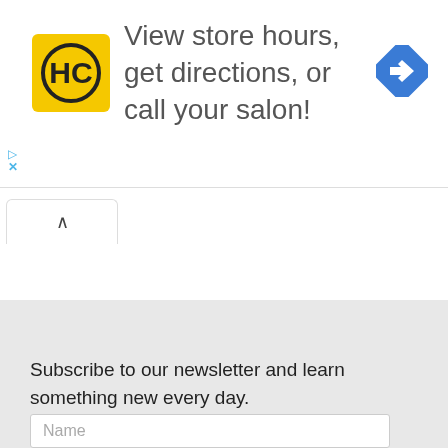[Figure (illustration): Advertisement banner with yellow HC logo and navigation diamond icon. Text reads: View store hours, get directions, or call your salon!]
Subscribe to our newsletter and learn something new every day.
Name